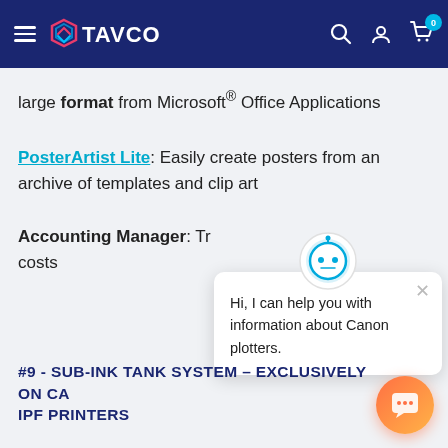TAVCO
large format from Microsoft® Office Applications
PosterArtist Lite: Easily create posters from an archive of templates and clip art
Accounting Manager: Tr... costs
[Figure (screenshot): Chatbot popup with robot icon saying: Hi, I can help you with information about Canon plotters.]
#9 - SUB-INK TANK SYSTEM – EXCLUSIVELY ON CA... IPF PRINTERS